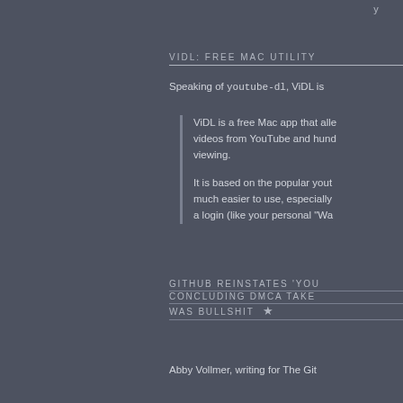y
VIDL: FREE MAC UTILITY
Speaking of youtube-dl, ViDL is
ViDL is a free Mac app that alle videos from YouTube and hund viewing.

It is based on the popular yout much easier to use, especially a login (like your personal "Wa
GITHUB REINSTATES 'YOU CONCLUDING DMCA TAKE WAS BULLSHIT ★
Abby Vollmer, writing for The Git